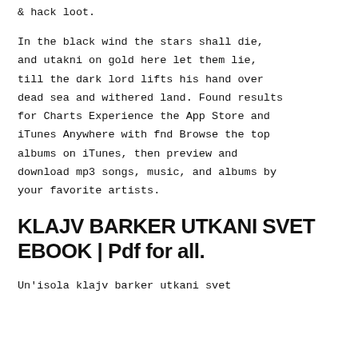& hack loot.
In the black wind the stars shall die, and utakni on gold here let them lie, till the dark lord lifts his hand over dead sea and withered land. Found results for Charts Experience the App Store and iTunes Anywhere with fnd Browse the top albums on iTunes, then preview and download mp3 songs, music, and albums by your favorite artists.
KLAJV BARKER UTKANI SVET EBOOK | Pdf for all.
Un'isola klajv barker utkani svet